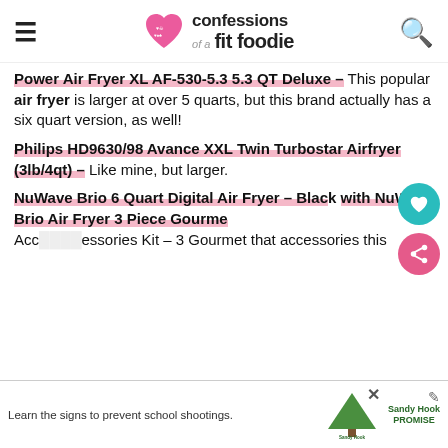confessions of a fit foodie
Power Air Fryer XL AF-530-5.3 5.3 QT Deluxe – This popular air fryer is larger at over 5 quarts, but this brand actually has a six quart version, as well!
Philips HD9630/98 Avance XXL Twin Turbostar Airfryer (3lb/4qt) – Like mine, but larger.
NuWave Brio 6 Quart Digital Air Fryer – Black with NuWave Brio Air Fryer 3 Piece Gourmet Accessories Kit – 3 Gourmet that accessories this a 10
[Figure (infographic): Sandy Hook Promise advertisement banner at bottom of page with text 'Learn the signs to prevent school shootings.']